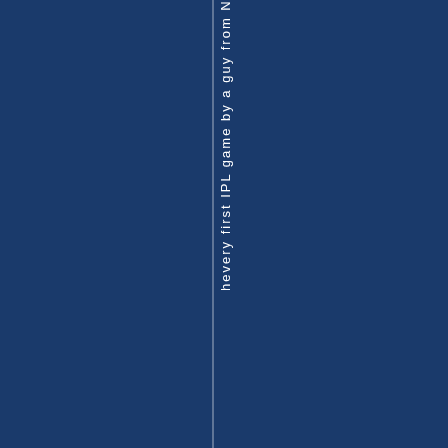[Figure (other): Dark navy blue background page with a vertical strip/line running down near the center-left, and vertical text reading 'hevery first IPL game by a guy from Ne' rotated 90 degrees along the strip.]